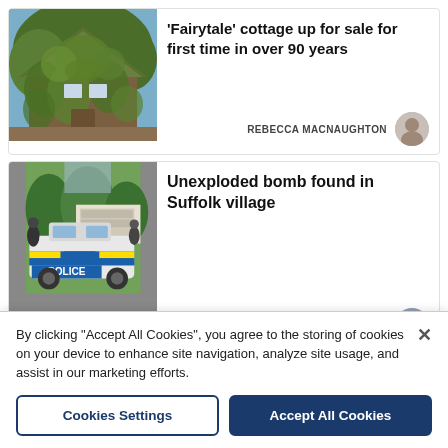[Figure (photo): Ivy-covered thatched cottage with lush green foliage covering the exterior walls and roof, against a blue sky background]
'Fairytale' cottage up for sale for first time in over 90 years
REBECCA MACNAUGHTON
[Figure (photo): Police car with blue and yellow markings parked in front of a 'Royal Logistic Corps Bomb Disposal' sign, with officers in the background]
Unexploded bomb found in Suffolk village
SEAN GALEA-PACE
By clicking "Accept All Cookies", you agree to the storing of cookies on your device to enhance site navigation, analyze site usage, and assist in our marketing efforts.